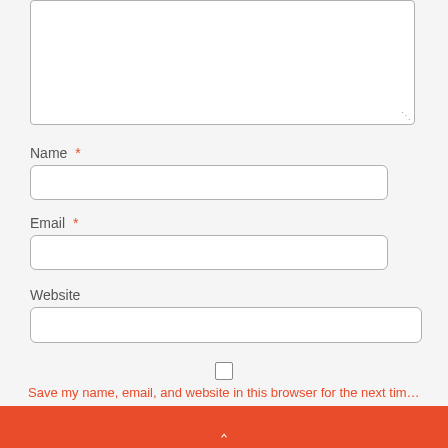[Figure (screenshot): Textarea form field at top, partially visible with resize handle at bottom-right corner]
Name *
[Figure (screenshot): Text input field for Name]
Email *
[Figure (screenshot): Text input field for Email]
Website
[Figure (screenshot): Text input field for Website]
[Figure (screenshot): Checkbox element]
Save my name, email, and website in this browser for the next time I comment.
^